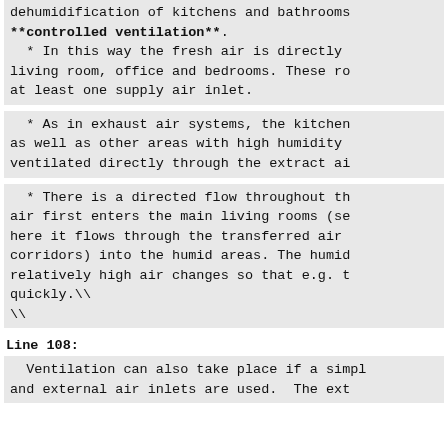dehumidification of kitchens and bathrooms
**controlled ventilation**.
  * In this way the fresh air is directly
living room, office and bedrooms. These ro
at least one supply air inlet.
* As in exhaust air systems, the kitchen
as well as other areas with high humidity
ventilated directly through the extract ai
* There is a directed flow throughout th
air first enters the main living rooms (se
here it flows through the transferred air
corridors) into the humid areas. The humid
relatively high air changes so that e.g. t
quickly.\\
\\
Line 108:
Ventilation can also take place if a simpl
and external air inlets are used.  The ext